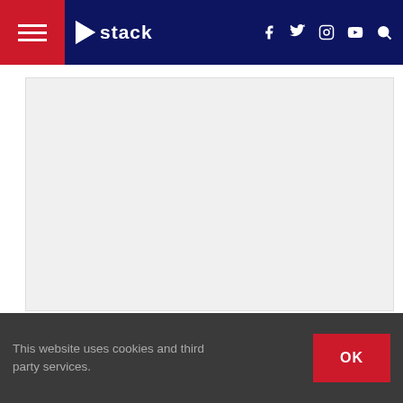stack — navigation bar with hamburger menu, logo, social icons (f, twitter, instagram, youtube), search
[Figure (other): Gray advertisement/image placeholder box]
1. Take off all attachments, leaving just the snap hook at
2. Adjust the pulleys so that they are both right above you
3. Take the right snap hook in your left hand and left snap
4. Stand straight with a neutral spine as you move your ar... straight at shoulder height.
5. Return to the starting position with slow control.
This website uses cookies and third party services.